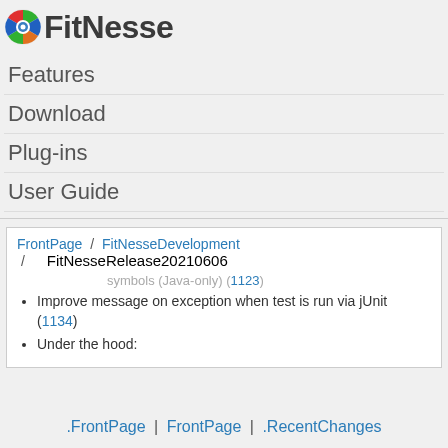[Figure (logo): FitNesse logo with circular icon (red, green, blue segments) and bold text 'FitNesse']
Features
Download
Plug-ins
User Guide
FrontPage / FitNesseDevelopment / FitNesseRelease20210606
symbols (Java-only) (1123)
Improve message on exception when test is run via jUnit (1134)
Under the hood:
.FrontPage | FrontPage | .RecentChanges